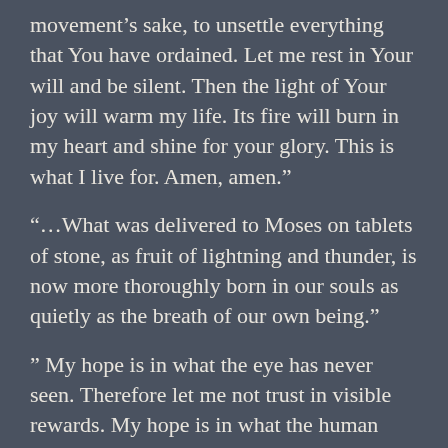movement’s sake, to unsettle everything that You have ordained. Let me rest in Your will and be silent. Then the light of Your joy will warm my life. Its fire will burn in my heart and shine for your glory. This is what I live for. Amen, amen.”
“…What was delivered to Moses on tablets of stone, as fruit of lightning and thunder, is now more thoroughly born in our souls as quietly as the breath of our own being.”
” My hope is in what the eye has never seen. Therefore let me not trust in visible rewards. My hope is in what the human heart cannot feel. Therefore let me not trust in the feelings of my heart. My hope is in what the hand has